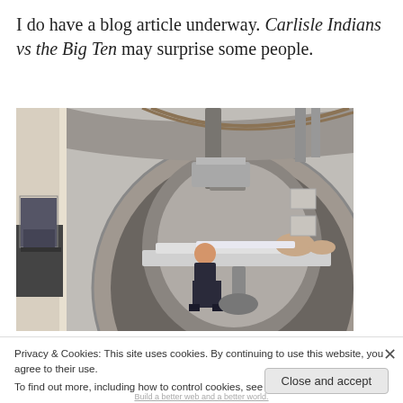I do have a blog article underway. Carlisle Indians vs the Big Ten may surprise some people.
[Figure (photo): A medical radiation therapy or MRI room showing a large circular gantry machine, a patient lying on a treatment table being attended to by a technician, with equipment visible in the background.]
Privacy & Cookies: This site uses cookies. By continuing to use this website, you agree to their use. To find out more, including how to control cookies, see here: Cookie Policy
Build a better web and a better world.